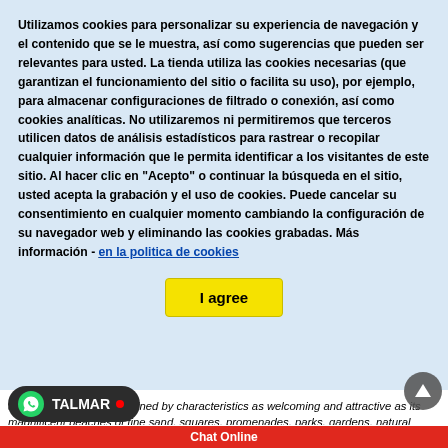Utilizamos cookies para personalizar su experiencia de navegación y el contenido que se le muestra, así como sugerencias que pueden ser relevantes para usted. La tienda utiliza las cookies necesarias (que garantizan el funcionamiento del sitio o facilita su uso), por ejemplo, para almacenar configuraciones de filtrado o conexión, así como cookies analíticas. No utilizaremos ni permitiremos que terceros utilicen datos de análisis estadísticos para rastrear o recopilar cualquier información que le permita identificar a los visitantes de este sitio. Al hacer clic en "Acepto" o continuar la búsqueda en el sitio, usted acepta la grabación y el uso de cookies. Puede cancelar su consentimiento en cualquier momento cambiando la configuración de su navegador web y eliminando las cookies grabadas. Más información - en la politica de cookies
I agree
temperature of 18ºC, is joined by characteristics as welcoming and attractive as its magnificent beaches of fine sand, squares, promenades, parks, gardens, natural landscapes. , great historical-artistic monuments (modernist casino from the beginning of the century with its famous Mozarabic-style hall; the salt mines enclosure), both in the city and in its area of influence.~ ~ All this surrounded by innumerable services dedicated to tourism, hand in hand with a hospitable society, simple and open to the cultures of the world thanks to its enormous seafaring tradition of cabotage, fishing and sports. Not in all. To the most important fleet of sailing ships in the M the last copies until the middle of the decade of this century. Its many urban tions, residential places and recreational areas are, in short, a sample of the accredited tourist guarantee, propitiated by the